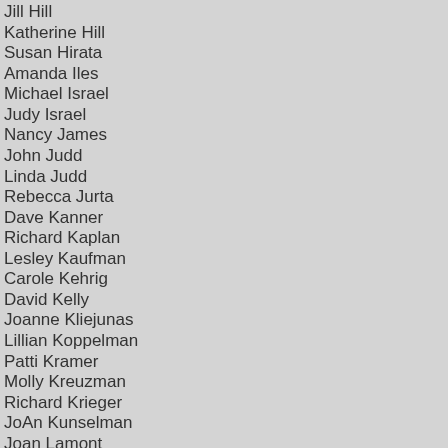Jill Hill
Katherine Hill
Susan Hirata
Amanda Iles
Michael Israel
Judy Israel
Nancy James
John Judd
Linda Judd
Rebecca Jurta
Dave Kanner
Richard Kaplan
Lesley Kaufman
Carole Kehrig
David Kelly
Joanne Kliejunas
Lillian Koppelman
Patti Kramer
Molly Kreuzman
Richard Krieger
JoAn Kunselman
Joan Lamont
John Lane